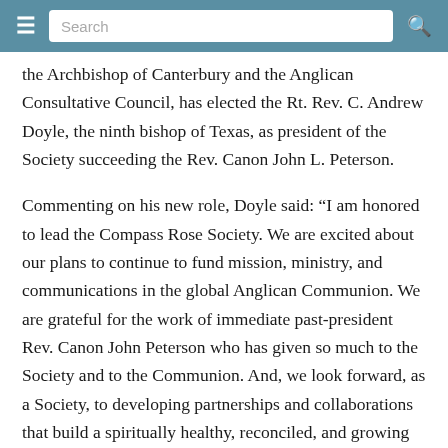Search
the Archbishop of Canterbury and the Anglican Consultative Council, has elected the Rt. Rev. C. Andrew Doyle, the ninth bishop of Texas, as president of the Society succeeding the Rev. Canon John L. Peterson.
Commenting on his new role, Doyle said: “I am honored to lead the Compass Rose Society. We are excited about our plans to continue to fund mission, ministry, and communications in the global Anglican Communion. We are grateful for the work of immediate past-president Rev. Canon John Peterson who has given so much to the Society and to the Communion. And, we look forward, as a Society, to developing partnerships and collaborations that build a spiritually healthy, reconciled, and growing Anglican Communion.”
Peterson said, “I am delighted that Bishop Doyle has...